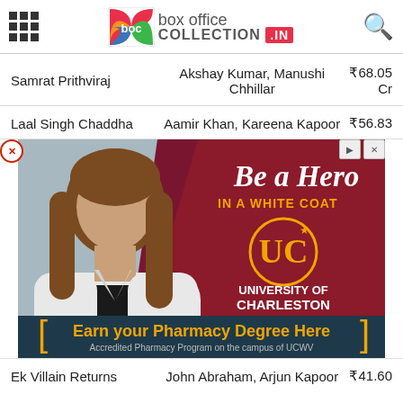box office collection .IN
| Movie | Cast | Collection |
| --- | --- | --- |
| Samrat Prithviraj | Akshay Kumar, Manushi Chhillar | ₹68.05 Cr |
| Laal Singh Chaddha | Aamir Khan, Kareena Kapoor | ₹56.83 |
| Ek Villain Returns | John Abraham, Arjun Kapoor | ₹41.60 |
[Figure (photo): Advertisement for University of Charleston School of Pharmacy showing a woman in a white coat with text 'Be a Hero IN A WHITE COAT' and 'Earn your Pharmacy Degree Here - Accredited Pharmacy Program on the campus of UCWV']